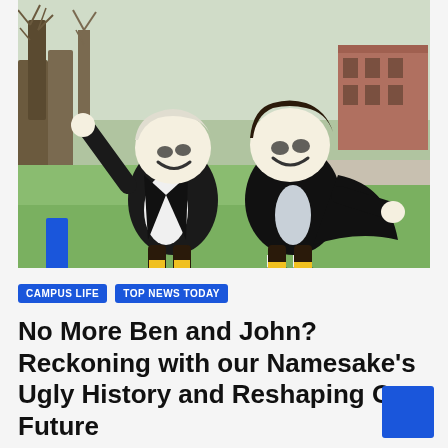[Figure (photo): Two university mascots wearing colonial-era costumes with large round cartoon heads, standing on a grass lawn with trees and a brick building in the background. One mascot waves with its right arm raised.]
CAMPUS LIFE
TOP NEWS TODAY
No More Ben and John? Reckoning with our Namesake’s Ugly History and Reshaping Our Future